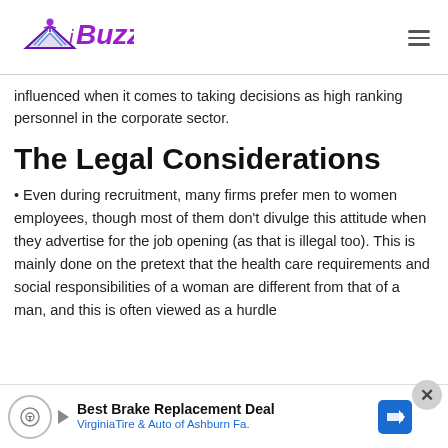iBuzzle
influenced when it comes to taking decisions as high ranking personnel in the corporate sector.
The Legal Considerations
• Even during recruitment, many firms prefer men to women employees, though most of them don't divulge this attitude when they advertise for the job opening (as that is illegal too). This is mainly done on the pretext that the health care requirements and social responsibilities of a woman are different from that of a man, and this is often viewed as a hurdle
[Figure (infographic): Advertisement banner: Best Brake Replacement Deal - Virginia Tire & Auto of Ashburn Fa.]